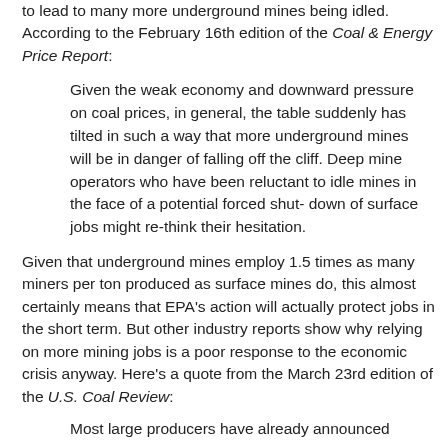to lead to many more underground mines being idled. According to the February 16th edition of the Coal & Energy Price Report:
Given the weak economy and downward pressure on coal prices, in general, the table suddenly has tilted in such a way that more underground mines will be in danger of falling off the cliff. Deep mine operators who have been reluctant to idle mines in the face of a potential forced shut- down of surface jobs might re-think their hesitation.
Given that underground mines employ 1.5 times as many miners per ton produced as surface mines do, this almost certainly means that EPA's action will actually protect jobs in the short term. But other industry reports show why relying on more mining jobs is a poor response to the economic crisis anyway. Here's a quote from the March 23rd edition of the U.S. Coal Review:
Most large producers have already announced